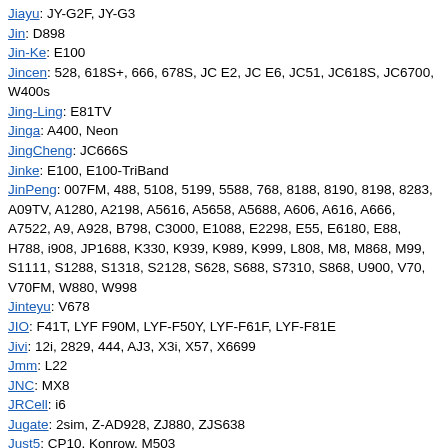Jiayu: JY-G2F, JY-G3
Jin: D898
Jin-Ke: E100
Jincen: 528, 618S+, 666, 678S, JC E2, JC E6, JC51, JC618S, JC6700, W400s
Jing-Ling: E81TV
Jinga: A400, Neon
JingCheng: JC666S
Jinke: E100, E100-TriBand
JinPeng: 007FM, 488, 5108, 5199, 5588, 768, 8188, 8190, 8198, 8283, A09TV, A1280, A2198, A5616, A5658, A5688, A606, A616, A666, A7522, A9, A928, B798, C3000, E1088, E2298, E55, E6180, E88, H788, i908, JP1688, K330, K939, K989, K999, L808, M8, M868, M99, S1111, S1288, S1318, S2128, S628, S688, S7310, S868, U900, V70, V70FM, W880, W998
Jinteyu: V678
JIO: F41T, LYF F90M, LYF-F50Y, LYF-F61F, LYF-F81E
Jivi: 12i, 2829, 444, AJ3, X3i, X57, X6699
Jmm: L22
JNC: MX8
JRCell: i6
Jugate: 2sim, Z-AD928, ZJ880, ZJS638
Just5: CP10, Konrow, M503
K&C: W806, W812
K-Five: K15, Vanilla
K-Mobile: K828
K-Touch: A11, A615, A635, C108, C260, D170, D770, D780, H777, H999, Kis-1, TBL5761, V760, V908, X90
Kailinuo: K925
Kaiqi: N107, TV32
Kalley: Silver Max Pro, TCF200
Karamfone: S4, X5
Karbonn: A065, A1 Plus Super, A1+, A101, A108+, A109, A119, A11Star,